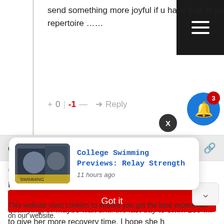send something more joyful if u have that in your creative repertoire ......
+ 0 | -1 — ➜ Reply
dmswim
4 years ago
I wonder if they'll be strategic and either have her swim 200 fly and push it hard on the first day to secure qualifying, or maybe wait until the last day to swim 200 IM to give her more recovery time. I hope she h... soon!
College Swimming Previews: Relay Strength
11 hours ago
Got it
This website uses cookies to ensure you get the best experience on our website.